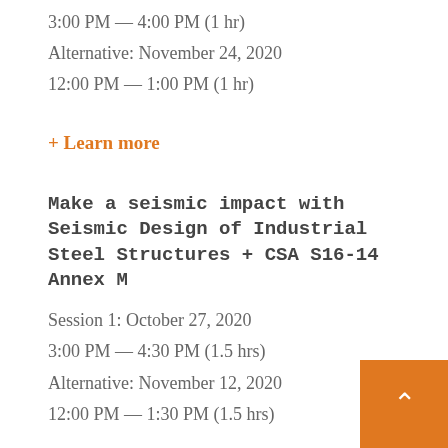3:00 PM — 4:00 PM (1 hr)
Alternative: November 24, 2020
12:00 PM — 1:00 PM (1 hr)
+ Learn more
Make a seismic impact with Seismic Design of Industrial Steel Structures + CSA S16-14 Annex M
Session 1: October 27, 2020
3:00 PM — 4:30 PM (1.5 hrs)
Alternative: November 12, 2020
12:00 PM — 1:30 PM (1.5 hrs)
+ Learn more
Boost Your Career with Courses from the CISC